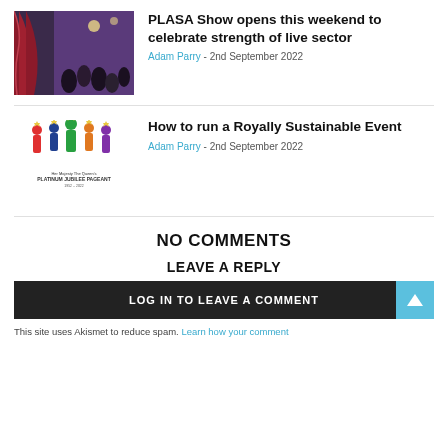[Figure (photo): Partial image at top, cropped, showing event/exhibition scene]
PLASA Show opens this weekend to celebrate strength of live sector
Adam Parry - 2nd September 2022
[Figure (logo): Her Majesty The Queen's Platinum Jubilee Pageant logo with colorful crown figures]
How to run a Royally Sustainable Event
Adam Parry - 2nd September 2022
NO COMMENTS
LEAVE A REPLY
LOG IN TO LEAVE A COMMENT
This site uses Akismet to reduce spam. Learn how your comment...